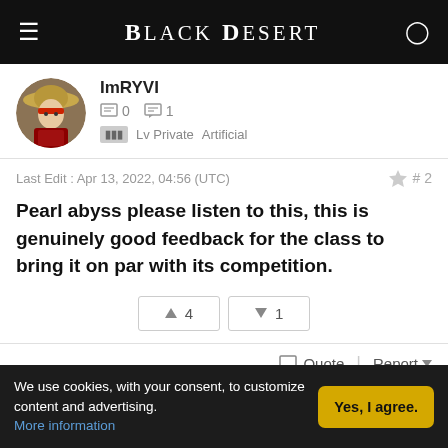Black Desert
[Figure (photo): User avatar showing a samurai-styled character with a straw hat and red details]
ImRYVI
0 posts  1 comment
Lv Private  Artificial
Last Edit : Apr 13, 2022, 04:56 (UTC)  # 2
Pearl abyss please listen to this, this is genuinely good feedback for the class to bring it on par with its competition.
▲ 4  ▼ 1
Quote  |  Report ▼
We use cookies, with your consent, to customize content and advertising.
More information
Yes, I agree.